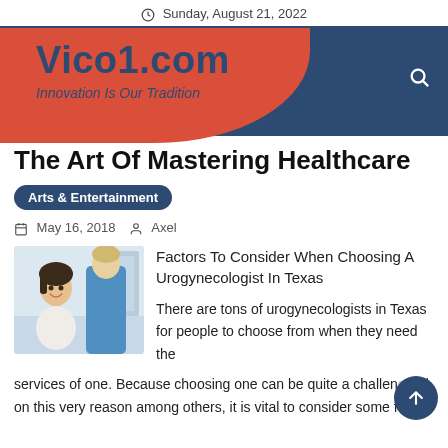Sunday, August 21, 2022
Vico1.com
Innovation Is Our Tradition
The Art Of Mastering Healthcare
Arts & Entertainment
May 16, 2018   Axel
[Figure (photo): A woman smiling at a healthcare professional in blue scrubs]
Factors To Consider When Choosing A Urogynecologist In Texas
There are tons of urogynecologists in Texas for people to choose from when they need the services of one. Because choosing one can be quite a challenge based on this very reason among others, it is vital to consider some few